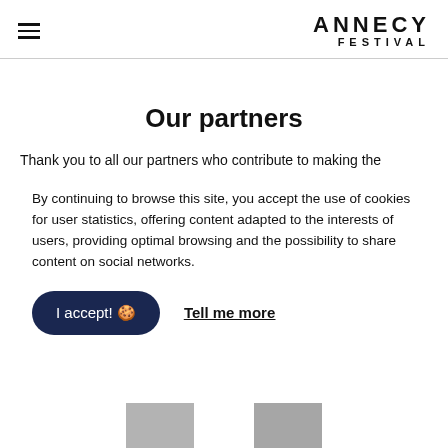ANNECY FESTIVAL (with hamburger menu icon)
Our partners
Thank you to all our partners who contribute to making the
By continuing to browse this site, you accept the use of cookies for user statistics, offering content adapted to the interests of users, providing optimal browsing and the possibility to share content on social networks.
I accept! 🍪   Tell me more
[Figure (other): Two partially visible partner logo placeholders at the bottom of the page]